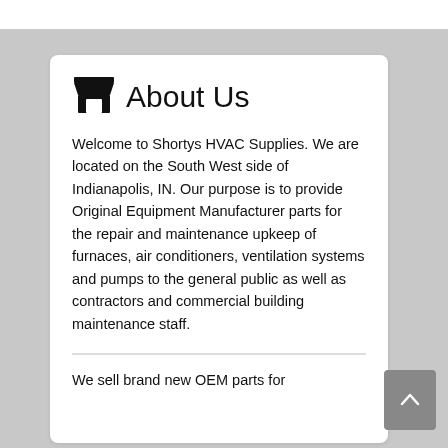About Us
Welcome to Shortys HVAC Supplies. We are located on the South West side of Indianapolis, IN. Our purpose is to provide Original Equipment Manufacturer parts for the repair and maintenance upkeep of furnaces, air conditioners, ventilation systems and pumps to the general public as well as contractors and commercial building maintenance staff.
We sell brand new OEM parts for